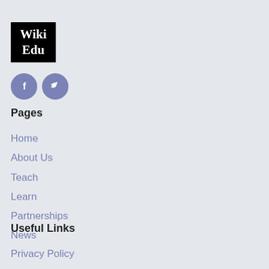[Figure (logo): Wiki Edu logo — black square with white serif text reading 'Wiki Edu']
[Figure (infographic): Two purple circle social media icons: Facebook (f) and Twitter (bird)]
Pages
Home
About Us
Teach
Learn
Partnerships
News
Useful Links
Privacy Policy
Terms of Service
Contact Us